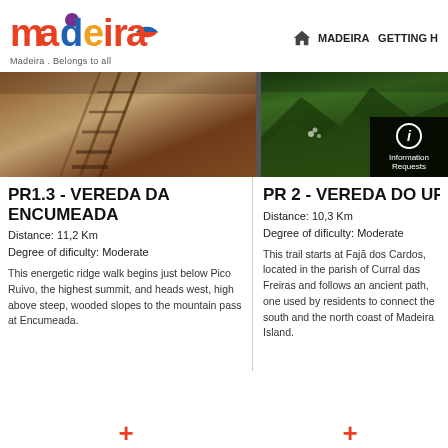[Figure (logo): Madeira colorful logo with geometric shapes spelling 'madeira']
Madeira . Belongs to all
MADEIRA  GETTING H
[Figure (photo): Left photo: rocky railway track on a hillside slope in Madeira]
[Figure (photo): Right photo: green vegetation and mountains in Madeira with information button overlay showing 'Information Requests']
PR1.3 - VEREDA DA ENCUMEADA
Distance: 11,2 Km
Degree of dificulty: Moderate
This energetic ridge walk begins just below Pico Ruivo, the highest summit, and heads west, high above steep, wooded slopes to the mountain pass at Encumeada.
PR 2 - VEREDA DO URZAL
Distance: 10,3 Km
Degree of dificulty: Moderate
This trail starts at Fajã dos Cardos, located in the parish of Curral das Freiras and follows an ancient path, one used by residents to connect the south and the north coast of Madeira Island.